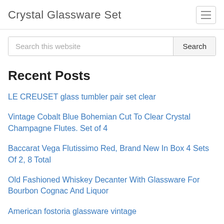Crystal Glassware Set
Search this website
Recent Posts
LE CREUSET glass tumbler pair set clear
Vintage Cobalt Blue Bohemian Cut To Clear Crystal Champagne Flutes. Set of 4
Baccarat Vega Flutissimo Red, Brand New In Box 4 Sets Of 2, 8 Total
Old Fashioned Whiskey Decanter With Glassware For Bourbon Cognac And Liquor
American fostoria glassware vintage